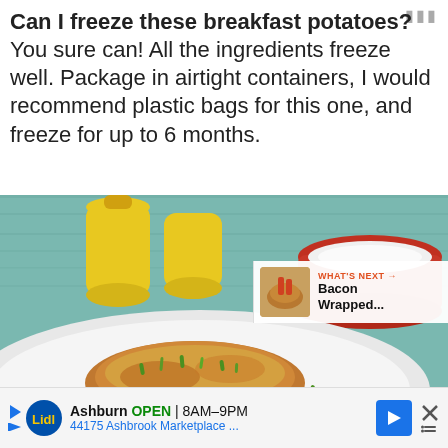Can I freeze these breakfast potatoes? You sure can! All the ingredients freeze well. Package in airtight containers, I would recommend plastic bags for this one, and freeze for up to 6 months.
[Figure (photo): Food photo showing a white plate with a cheesy breakfast potato topped with green onions, a yellow squeeze bottle in the background, a red bowl filled with white rice/salt on a teal wooden surface, with social sharing UI overlaid (heart button showing 11.9K, share button, and a 'What's Next - Bacon Wrapped...' suggestion card)]
Ashburn OPEN 8AM–9PM 44175 Ashbrook Marketplace ...